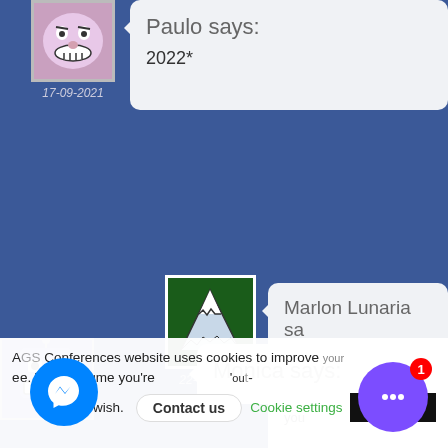[Figure (illustration): Avatar image of a cartoon troll face on pink background, with date 17-09-2021 below]
Paulo says:
2022*
[Figure (illustration): Avatar image showing a white triangle mountain on green background, with date 22-09-2021 below]
Marlon Lunaria sa
Hi Paulo, Yes we regularly d subscribe to get updated on Thank you
[Figure (illustration): Avatar image of a blue cartoon robot face with big teeth]
Monica says:
AGS Conferences website uses cookies to improve your experience. We'll assume you're ok with this, but you can opt-out if you wish.
Contact us
Cookie settings
ACCEPT